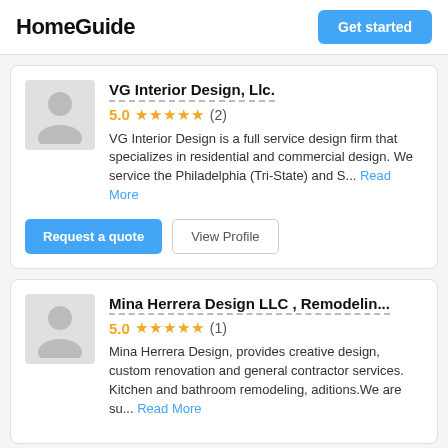HomeGuide | Get started
VG Interior Design, Llc.
5.0 ★★★★★ (2)
VG Interior Design is a full service design firm that specializes in residential and commercial design. We service the Philadelphia (Tri-State) and S... Read More
Request a quote | View Profile
Mina Herrera Design LLC , Remodelin...
5.0 ★★★★★ (1)
Mina Herrera Design, provides creative design, custom renovation and general contractor services. Kitchen and bathroom remodeling, aditions.We are su... Read More